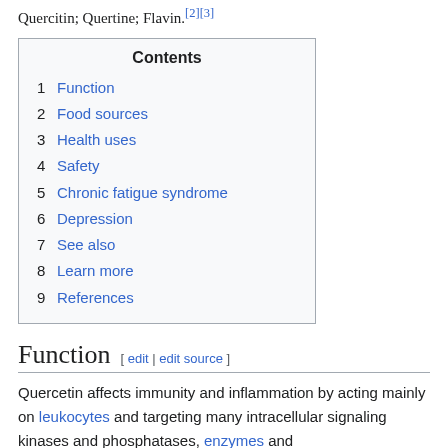Quercitin; Quertine; Flavin.[2][3]
| Contents |
| --- |
| 1 Function |
| 2 Food sources |
| 3 Health uses |
| 4 Safety |
| 5 Chronic fatigue syndrome |
| 6 Depression |
| 7 See also |
| 8 Learn more |
| 9 References |
Function [ edit | edit source ]
Quercetin affects immunity and inflammation by acting mainly on leukocytes and targeting many intracellular signaling kinases and phosphatases, enzymes and